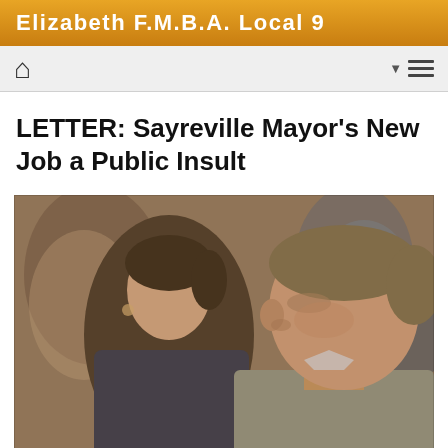Elizabeth F.M.B.A. Local 9
LETTER: Sayreville Mayor's New Job a Public Insult
[Figure (photo): Photograph of people seated in a crowded room, showing a middle-aged man in profile in the foreground and a woman slightly behind him, appearing to be at a public meeting or hearing.]